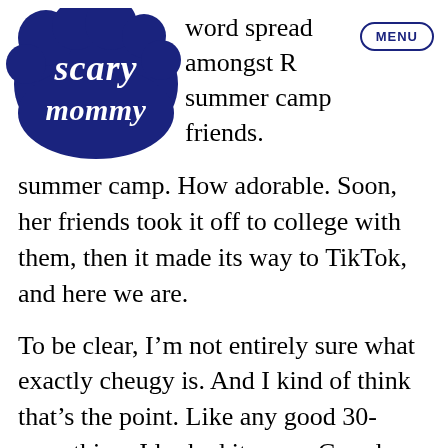Scary Mommy | MENU
word spread amongst R summer camp friends. summer camp. How adorable. Soon, her friends took it off to college with them, then it made its way to TikTok, and here we are.
To be clear, I'm not entirely sure what exactly cheugy is. And I kind of think that's the point. Like any good 30-something, I looked it up on Google. The more I try to understand, the more I think it's purposefully vague. A lot of those who are more educated on the subject seem to be like, “if you know, you know” which makes me even more convinced I'm a cheug.